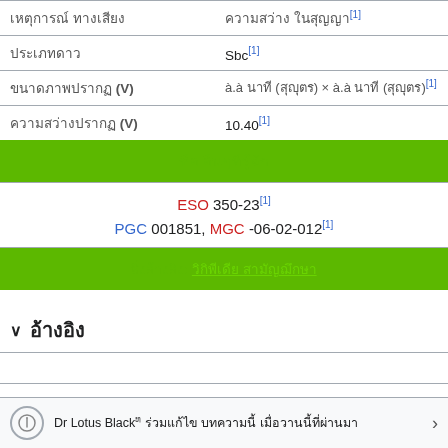| [Thai script] | [Thai script][1] |
| [Thai script] | Sbc[1] |
| [Thai script] (V) | [Thai] x [Thai][1] |
| [Thai script] (V) | 10.40[1] |
| [Green bar: Thai script] |  |
| ESO 350-23[1], PGC 001851, MGC -06-02-012[1] |  |
| [Green bar: Thai script link] |  |
∨ [Thai script]
Dr Lotus Black[Thai] [Thai script text]